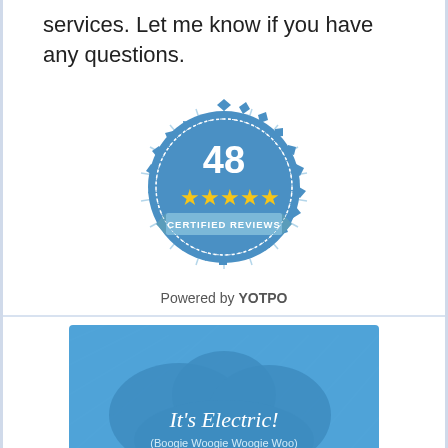services. Let me know if you have any questions.
[Figure (illustration): Blue badge/seal with number 48, five gold stars, and text 'CERTIFIED REVIEWS']
Powered by YOTPO
[Figure (illustration): Blue cloud image with text 'It's Electric! (Boogie Woogie Woogie Woo)']